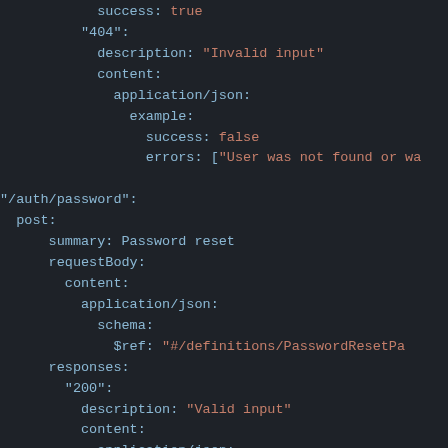YAML/OpenAPI code snippet showing API spec for /auth/password endpoint with password reset summary, requestBody, responses sections